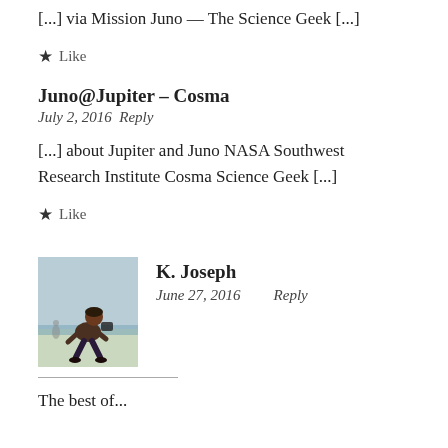[...] via Mission Juno — The Science Geek [...]
★ Like
Juno@Jupiter – Cosma
July 2, 2016 Reply
[...] about Jupiter and Juno NASA Southwest Research Institute Cosma Science Geek [...]
★ Like
[Figure (photo): Avatar photo of commenter K. Joseph, person crouching on a beach]
K. Joseph
June 27, 2016   Reply
The best of...